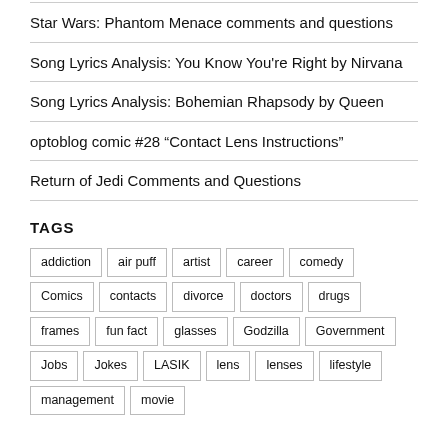Star Wars: Phantom Menace comments and questions
Song Lyrics Analysis: You Know You're Right by Nirvana
Song Lyrics Analysis: Bohemian Rhapsody by Queen
optoblog comic #28 “Contact Lens Instructions”
Return of Jedi Comments and Questions
TAGS
addiction, air puff, artist, career, comedy, Comics, contacts, divorce, doctors, drugs, frames, fun fact, glasses, Godzilla, Government, Jobs, Jokes, LASIK, lens, lenses, lifestyle, management, movie